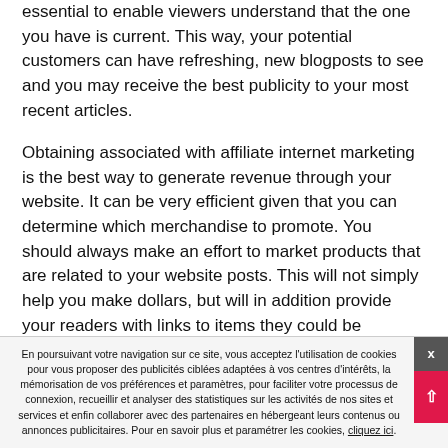essential to enable viewers understand that the one you have is current. This way, your potential customers can have refreshing, new blogposts to see and you may receive the best publicity to your most recent articles.
Obtaining associated with affiliate internet marketing is the best way to generate revenue through your website. It can be very efficient given that you can determine which merchandise to promote. You should always make an effort to market products that are related to your website posts. This will not simply help you make dollars, but will in addition provide your readers with links to items they could be enthusiastic about purchasing.
En poursuivant votre navigation sur ce site, vous acceptez l'utilisation de cookies pour vous proposer des publicités ciblées adaptées à vos centres d'intérêts, la mémorisation de vos préférences et paramètres, pour faciliter votre processus de connexion, recueillir et analyser des statistiques sur les activités de nos sites et services et enfin collaborer avec des partenaires en hébergeant leurs contenus ou annonces publicitaires. Pour en savoir plus et paramétrer les cookies, cliquez ici.